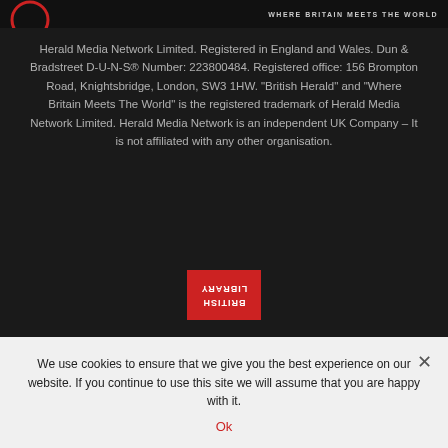[Figure (logo): Partial British Herald logo (red circle with partial text) and tagline WHERE BRITAIN MEETS THE WORLD on dark header bar]
Herald Media Network Limited. Registered in England and Wales. Dun & Bradstreet D-U-N-S® Number: 223800484. Registered office: 156 Brompton Road, Knightsbridge, London, SW3 1HW. “British Herald” and “Where Britain Meets The World” is the registered trademark of Herald Media Network Limited. Herald Media Network is an independent UK Company – It is not affiliated with any other organisation.
[Figure (logo): British Library logo: red rectangle with BRITISH LIBRARY text displayed upside down]
As per the UK Legislation of Legal Deposit Libraries Act of 2003, British Herald catalogues the web archives and eMagazines in
We use cookies to ensure that we give you the best experience on our website. If you continue to use this site we will assume that you are happy with it.
Ok